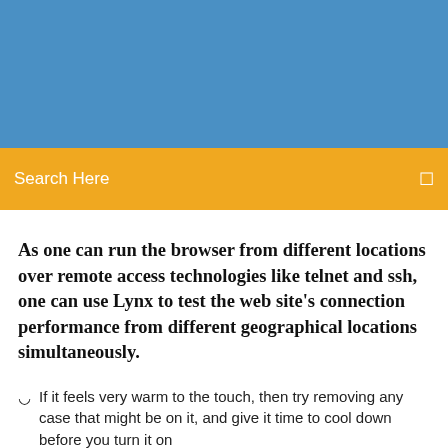[Figure (other): Blue header background banner]
Search Here
As one can run the browser from different locations over remote access technologies like telnet and ssh, one can use Lynx to test the web site's connection performance from different geographical locations simultaneously.
If it feels very warm to the touch, then try removing any case that might be on it, and give it time to cool down before you turn it on